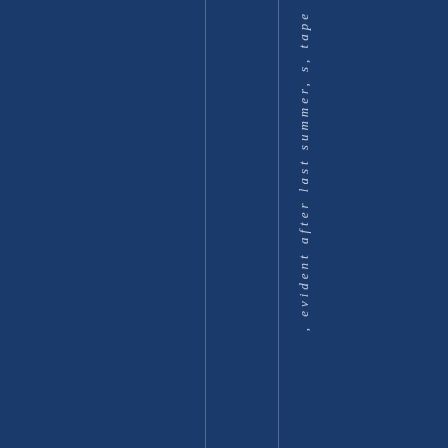[Figure (illustration): Dark navy blue background page with two thin vertical white/light lines dividing the page into sections. Rotated italic text reading ', evident after last summer, s, tape' runs vertically along the right portion of the page.]
, evident after last summer, s, tape